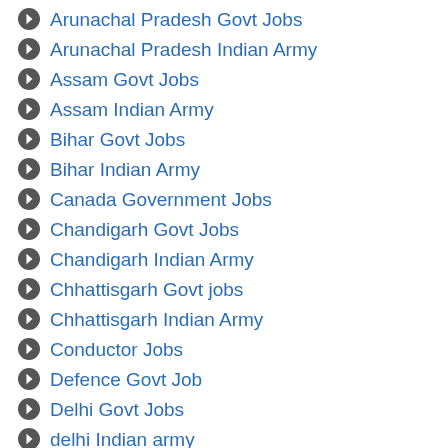Arunachal Pradesh Govt Jobs
Arunachal Pradesh Indian Army
Assam Govt Jobs
Assam Indian Army
Bihar Govt Jobs
Bihar Indian Army
Canada Government Jobs
Chandigarh Govt Jobs
Chandigarh Indian Army
Chhattisgarh Govt jobs
Chhattisgarh Indian Army
Conductor Jobs
Defence Govt Job
Delhi Govt Jobs
delhi Indian army